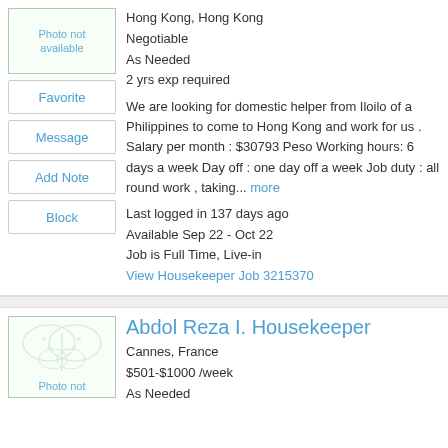Hong Kong, Hong Kong
Negotiable
As Needed
2 yrs exp required
We are looking for domestic helper from Iloilo of a Philippines to come to Hong Kong and work for us . Salary per month : $30793 Peso Working hours: 6 days a week Day off : one day off a week Job duty : all round work , taking... more
Last logged in 137 days ago
Available Sep 22 - Oct 22
Job is Full Time, Live-in
View Housekeeper Job 3215370
Abdol Reza I. Housekeeper
Cannes, France
$501-$1000 /week
As Needed